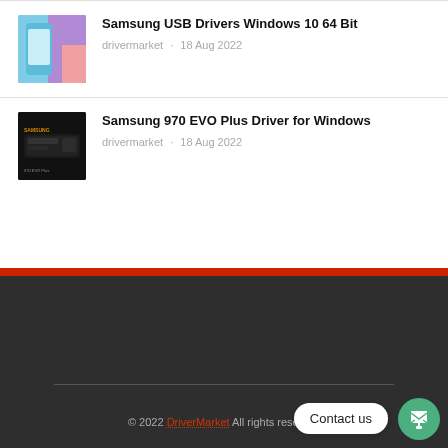[Figure (photo): Samsung smartphone (Galaxy A32) in light blue color]
Samsung USB Drivers Windows 10 64 Bit
drivermarket . 18 Aug 2022
[Figure (photo): Samsung 970 EVO Plus NVMe SSD drive]
Samsung 970 EVO Plus Driver for Windows
drivermarket . 18 Aug 2022
© 2022 DriverMarket All rights reserved